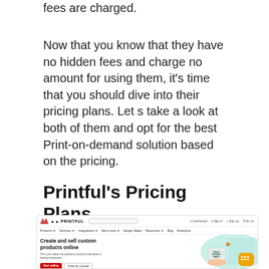fees are charged.
Now that you know that they have no hidden fees and charge no amount for using them, it's time that you should dive into their pricing plans. Let s take a look at both of them and opt for the best Print-on-demand solution based on the pricing.
Printful's Pricing Plans
[Figure (screenshot): Screenshot of the Printful website homepage showing the logo, navigation bar, search bar, and hero section with text 'Create and sell custom products online', red 'Start selling' and 'Order for yourself' buttons, and an image of a hand holding a custom mug with teal background and orange chat bubble widget.]